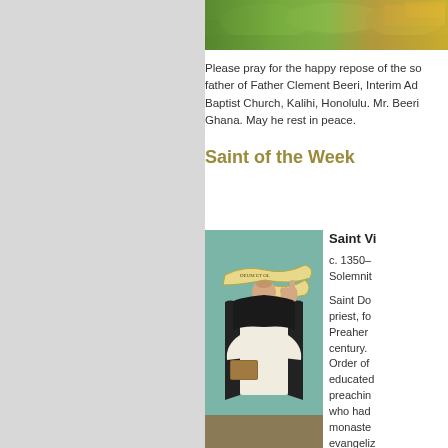[Figure (photo): Aerial or landscape photo of green trees and grounds, partially visible at top]
Please pray for the happy repose of the soul of the father of Father Clement Beeri, Interim Administrator of St. John the Baptist Church, Kalihi, Honolulu. Mr. Beeri passed away in Ghana. May he rest in peace.
Saint of the Week
[Figure (photo): Painting of a Dominican friar in black and white habit, holding a book, with a scroll banner in the background]
Saint Vi c. 1350– Solemnit Saint Do priest, fo Preacher century. Order of educated preachin who had monaste evangeliz